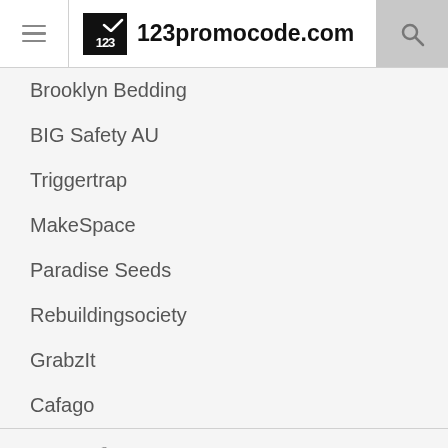123promocode.com
Brooklyn Bedding
BIG Safety AU
Triggertrap
MakeSpace
Paradise Seeds
Rebuildingsociety
GrabzIt
Cafago
Copyright © 2013-2020 123promocode.com All Right Reserved. Privacy Policy | Send Feedback